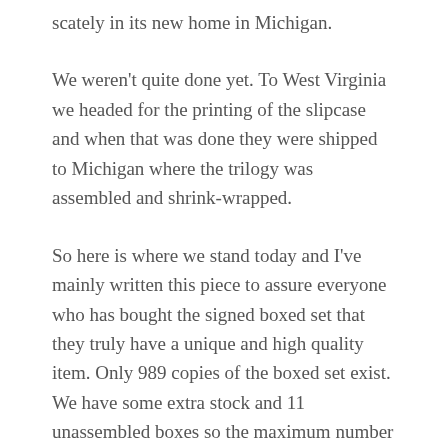scately in its new home in Michigan.
We weren't quite done yet. To West Virginia we headed for the printing of the slipcase and when that was done they were shipped to Michigan where the trilogy was assembled and shrink-wrapped.
So here is where we stand today and I've mainly written this piece to assure everyone who has bought the signed boxed set that they truly have a unique and high quality item. Only 989 copies of the boxed set exist. We have some extra stock and 11 unassembled boxes so the maximum number of copies of this signed first edition are 1003. We've got about 100 signed copies of each of the books but with no more than 11 unassembled boxes we don't foresee any further assembly … (continues)